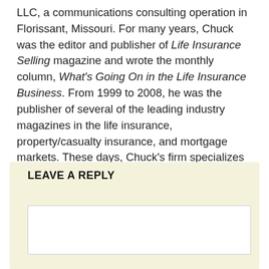LLC, a communications consulting operation in Florissant, Missouri. For many years, Chuck was the editor and publisher of Life Insurance Selling magazine and wrote the monthly column, What's Going On in the Life Insurance Business. From 1999 to 2008, he was the publisher of several of the leading industry magazines in the life insurance, property/casualty insurance, and mortgage markets. These days, Chuck's firm specializes in the development and execution of many kinds of communication strategies, particularly in the financial services business.
LEAVE A REPLY